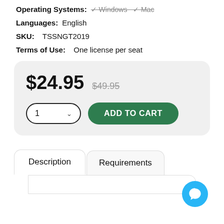Operating Systems: Windows Mac
Languages: English
SKU: TSSNGT2019
Terms of Use: One license per seat
$24.95  $49.95
1  ADD TO CART
Description
Requirements